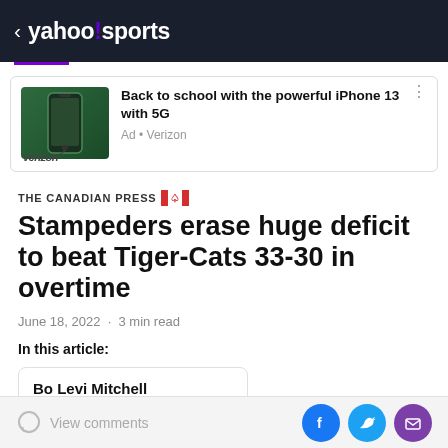< yahoo!sports
[Figure (screenshot): Advertisement: iPhone 13 with green phone image, Verizon ad. Text: Back to school with the powerful iPhone 13 with 5G. Ad • Verizon. verizon logo bottom left.]
THE CANADIAN PRESS
Stampeders erase huge deficit to beat Tiger-Cats 33-30 in overtime
June 18, 2022 · 3 min read
In this article:
Bo Levi Mitchell
American football quarterback
View comments